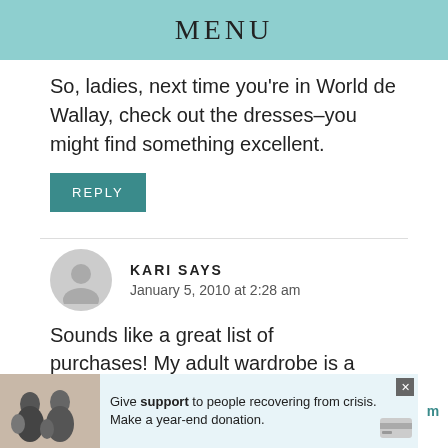MENU
So, ladies, next time you're in World de Wallay, check out the dresses–you might find something excellent.
REPLY
KARI SAYS
January 5, 2010 at 2:28 am
Sounds like a great list of purchases! My adult wardrobe is a bit too new to have a 5-ye...om
[Figure (infographic): Advertisement banner: photo of family with text 'Give support to people recovering from crisis. Make a year-end donation.']